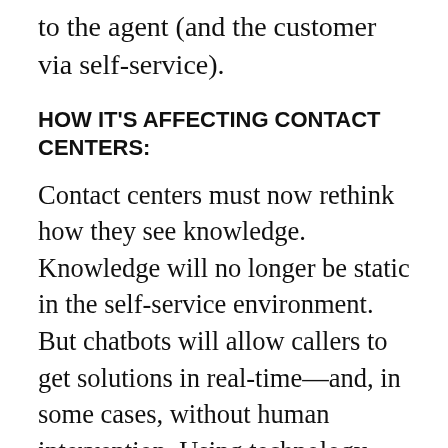to the agent (and the customer via self-service).
HOW IT'S AFFECTING CONTACT CENTERS:
Contact centers must now rethink how they see knowledge. Knowledge will no longer be static in the self-service environment. But chatbots will allow callers to get solutions in real-time—and, in some cases, without human intervention. Using technology like IBM's Watson Conversation, Watson Discovery Services and Salesforce's Einstein services, customers will be able to first